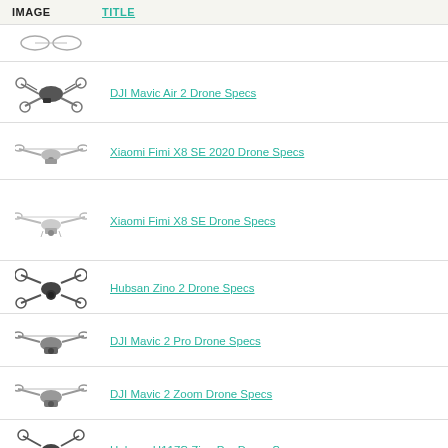| IMAGE | TITLE |
| --- | --- |
| [drone image] | DJI Mavic Air 2 Drone Specs |
| [drone image] | Xiaomi Fimi X8 SE 2020 Drone Specs |
| [drone image] | Xiaomi Fimi X8 SE Drone Specs |
| [drone image] | Hubsan Zino 2 Drone Specs |
| [drone image] | DJI Mavic 2 Pro Drone Specs |
| [drone image] | DJI Mavic 2 Zoom Drone Specs |
| [drone image] | Hubsan H117S Zino Pro Drone Specs |